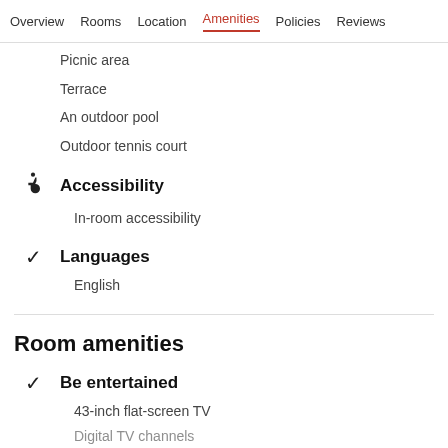Overview  Rooms  Location  Amenities  Policies  Reviews
Picnic area
Terrace
An outdoor pool
Outdoor tennis court
Accessibility
In-room accessibility
Languages
English
Room amenities
Be entertained
43-inch flat-screen TV
Digital TV channels